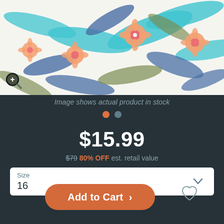[Figure (photo): Tropical floral print clothing item with orange hibiscus flowers, blue palm leaves on white background. Zoom/magnify icon in bottom-left corner.]
Image shows actual product in stock
$15.99
$79 80% OFF est. retail value
Size
16
Add to Cart